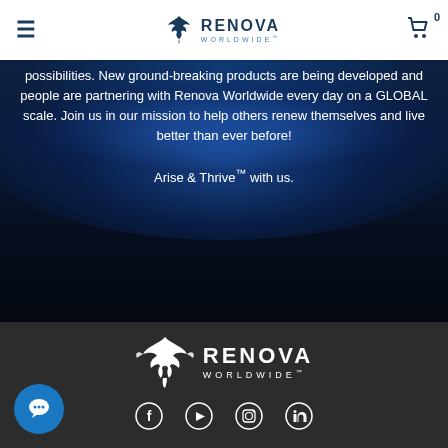Renova Worldwide navigation bar with hamburger menu, logo, and cart icon
[Figure (photo): Hero section with Earth globe background and white text overlay reading: 'possibilities. New ground-breaking products are being developed and people are partnering with Renova Worldwide every day on a GLOBAL scale. Join us in our mission to help others renew themselves and live better than ever before! Arise & Thrive™ with us.']
[Figure (logo): Renova Worldwide logo in white on dark footer background — phoenix bird icon with RENOVA WORLDWIDE™ text]
[Figure (other): Social media icons row: Facebook, YouTube, Instagram, LinkedIn]